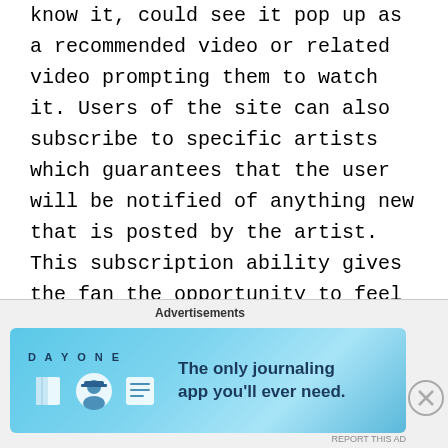know it, could see it pop up as a recommended video or related video prompting them to watch it. Users of the site can also subscribe to specific artists which guarantees that the user will be notified of anything new that is posted by the artist. This subscription ability gives the fan the opportunity to feel as though they are on the inner team of the artist, being the first to know when things are posted, which helps to foster a sense of
[Figure (infographic): Advertisement banner for DayOne journaling app with blue gradient background, app icons, and tagline 'The only journaling app you'll ever need.']